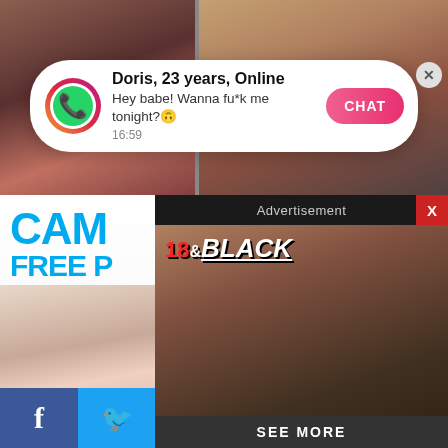[Figure (screenshot): Screenshot of a mobile interface showing adult content images in the background]
Doris, 23 years, Online
Hey babe! Wanna fu*k me tonight?
16:59
CHAT
[Figure (screenshot): Advertisement overlay showing adult content with '18 & BLACK' logo, 'Advertisement' header, close button X, and 'SEE MORE' button]
CAM
FREE P
Advertisement
SEE MORE